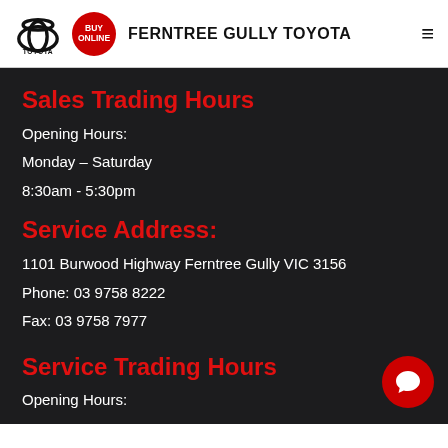FERNTREE GULLY TOYOTA
Sales Trading Hours
Opening Hours:
Monday – Saturday
8:30am - 5:30pm
Service Address:
1101 Burwood Highway Ferntree Gully VIC 3156
Phone: 03 9758 8222
Fax: 03 9758 7977
Service Trading Hours
Opening Hours: